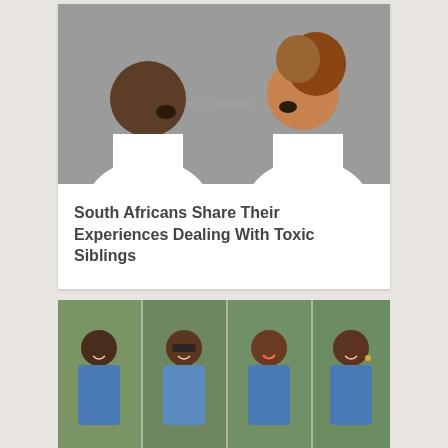[Figure (photo): Two people facing each other and shouting/arguing, both wearing white t-shirts, against a grey background. A man on the left and a woman with curly hair on the right.]
South Africans Share Their Experiences Dealing With Toxic Siblings
[Figure (photo): A collage of four photos showing women in denim jackets outdoors, smiling and posing.]